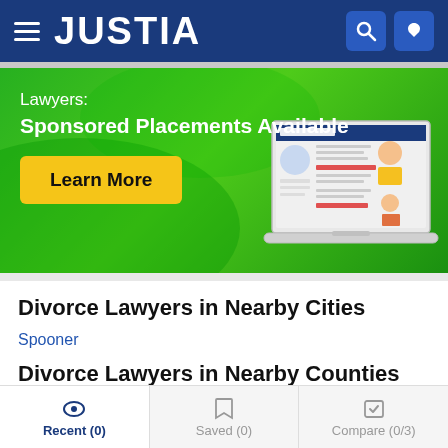JUSTIA
[Figure (illustration): Green banner advertisement for Justia Lawyers sponsored placements, showing a laptop mockup with lawyer profiles, a Learn More button, and text: Lawyers: Sponsored Placements Available]
Divorce Lawyers in Nearby Cities
Spooner
Divorce Lawyers in Nearby Counties
Recent (0) | Saved (0) | Compare (0/3)